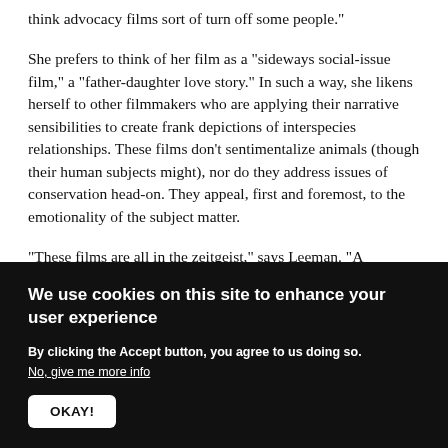think advocacy films sort of turn off some people."
She prefers to think of her film as a "sideways social-issue film," a "father-daughter love story." In such a way, she likens herself to other filmmakers who are applying their narrative sensibilities to create frank depictions of interspecies relationships. These films don't sentimentalize animals (though their human subjects might), nor do they address issues of conservation head-on. They appeal, first and foremost, to the emotionality of the subject matter.
"These films are all in the zeitgeist," says Leeman. "A
We use cookies on this site to enhance your user experience
By clicking the Accept button, you agree to us doing so.
No, give me more info
OKAY!